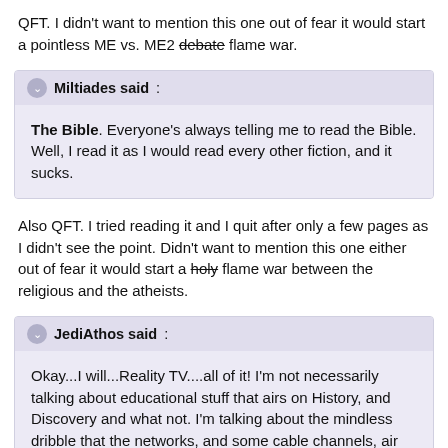QFT. I didn't want to mention this one out of fear it would start a pointless ME vs. ME2 debate flame war.
Miltiades said: The Bible. Everyone's always telling me to read the Bible. Well, I read it as I would read every other fiction, and it sucks.
Also QFT. I tried reading it and I quit after only a few pages as I didn't see the point. Didn't want to mention this one either out of fear it would start a holy flame war between the religious and the atheists.
JediAthos said: Okay...I will...Reality TV....all of it! I'm not necessarily talking about educational stuff that airs on History, and Discovery and what not. I'm talking about the mindless dribble that the networks, and some cable channels, air that has dumbed down television more than I've seen in my life time. People like the...